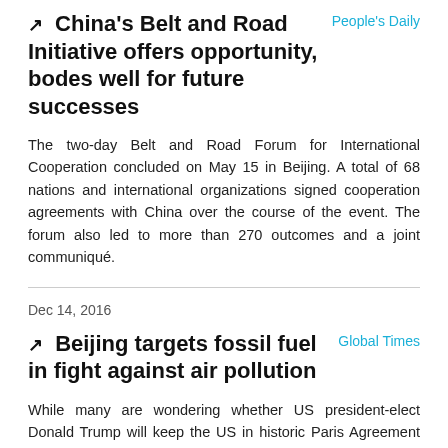China's Belt and Road Initiative offers opportunity, bodes well for future successes
People's Daily
The two-day Belt and Road Forum for International Cooperation concluded on May 15 in Beijing. A total of 68 nations and international organizations signed cooperation agreements with China over the course of the event. The forum also led to more than 270 outcomes and a joint communiqué.
Dec 14, 2016
Beijing targets fossil fuel in fight against air pollution
Global Times
While many are wondering whether US president-elect Donald Trump will keep the US in historic Paris Agreement on climate change, China has stepped up efforts to address the problem. Among those efforts has been shuttering coal-fired power